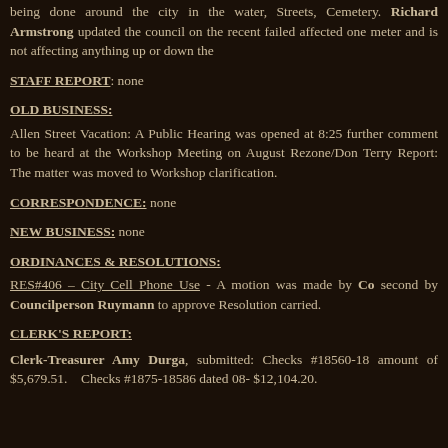being done around the city in the water, Streets, Cemetery. Richard Armstrong updated the council on the recent failed affected one meter and is not affecting anything up or down the
STAFF REPORT: none
OLD BUSINESS:
Allen Street Vacation: A Public Hearing was opened at 8:25 further comment to be heard at the Workshop Meeting on August Rezone/Don Terry Report: The matter was moved to Workshop clarification.
CORRESPONDENCE: none
NEW BUSINESS: none
ORDINANCES & RESOLUTIONS:
RES#406 – City Cell Phone Use - A motion was made by Councilperson second by Councilperson Ruymann to approve Resolution carried.
CLERK'S REPORT:
Clerk-Treasurer Amy Durga, submitted: Checks #18560-18 amount of $5,679.51. Checks #1875-18586 dated 08- $12,104.20.